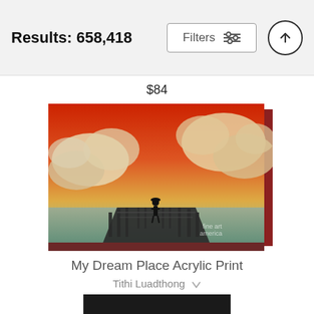Results: 658,418
$84
[Figure (photo): Canvas print showing a person standing on a dock at sunset with dramatic red and orange cloud-filled sky, watermarked with 'fine art america']
My Dream Place Acrylic Print
Tithi Luadthong
$86
[Figure (photo): Partial view of next product thumbnail at bottom of page]